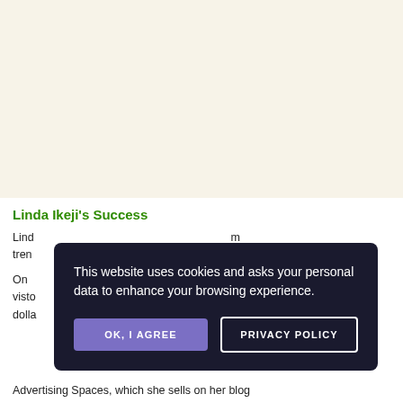[Figure (other): Cream/beige background block at top of page]
Linda Ikeji's Success
Lind... m tren...
On ... 0 visto ... f dolla... d
[Figure (other): Cookie consent modal overlay with dark background. Text: 'This website uses cookies and asks your personal data to enhance your browsing experience.' Buttons: 'OK, I AGREE' (purple) and 'PRIVACY POLICY' (outlined white).]
Advertising Spaces, which she sells on her blog